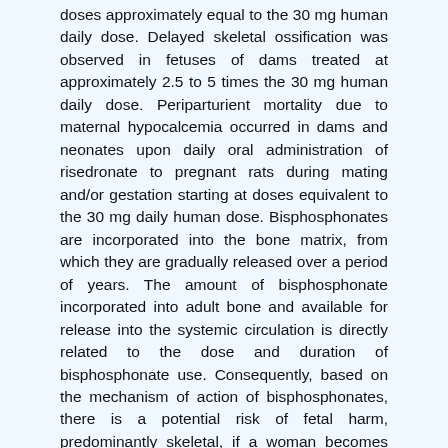doses approximately equal to the 30 mg human daily dose. Delayed skeletal ossification was observed in fetuses of dams treated at approximately 2.5 to 5 times the 30 mg human daily dose. Periparturient mortality due to maternal hypocalcemia occurred in dams and neonates upon daily oral administration of risedronate to pregnant rats during mating and/or gestation starting at doses equivalent to the 30 mg daily human dose. Bisphosphonates are incorporated into the bone matrix, from which they are gradually released over a period of years. The amount of bisphosphonate incorporated into adult bone and available for release into the systemic circulation is directly related to the dose and duration of bisphosphonate use. Consequently, based on the mechanism of action of bisphosphonates, there is a potential risk of fetal harm, predominantly skeletal, if a woman becomes pregnant after completing a course of bisphosphonate therapy. The impact of variables such as time between cessation of bisphosphonate therapy to conception, the particular bisphosphonate used, and the route of administration (intravenous versus oral) on this risk has not been studied. The estimated background risk of major birth defects and miscarriage